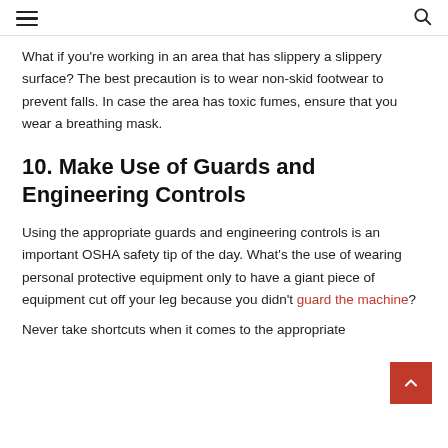≡  🔍
What if you're working in an area that has slippery a slippery surface? The best precaution is to wear non-skid footwear to prevent falls. In case the area has toxic fumes, ensure that you wear a breathing mask.
10. Make Use of Guards and Engineering Controls
Using the appropriate guards and engineering controls is an important OSHA safety tip of the day. What's the use of wearing personal protective equipment only to have a giant piece of equipment cut off your leg because you didn't guard the machine?
Never take shortcuts when it comes to the appropriate